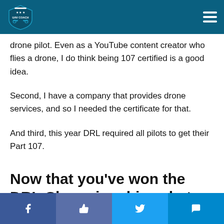UAV Coach
drone pilot. Even as a YouTube content creator who flies a drone, I do think being 107 certified is a good idea.
Second, I have a company that provides drone services, and so I needed the certificate for that.
And third, this year DRL required all pilots to get their Part 107.
Now that you’ve won the DRL Championship, what are you going to do next?
Facebook | Like | Twitter | SMS